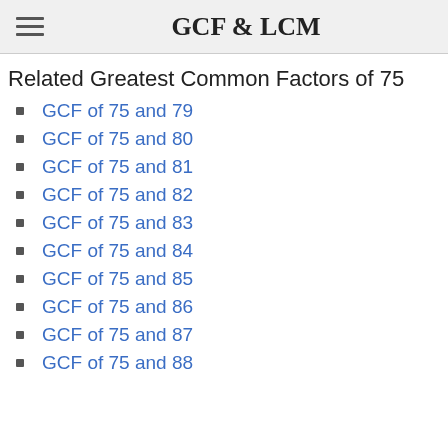GCF & LCM
Related Greatest Common Factors of 75
GCF of 75 and 79
GCF of 75 and 80
GCF of 75 and 81
GCF of 75 and 82
GCF of 75 and 83
GCF of 75 and 84
GCF of 75 and 85
GCF of 75 and 86
GCF of 75 and 87
GCF of 75 and 88